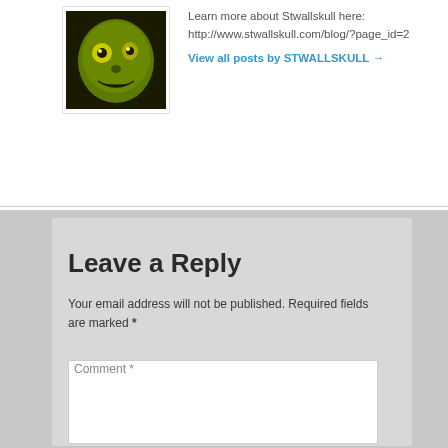[Figure (illustration): Avatar image of a monster/skull character with yellow-green coloring on a dark background]
Learn more about Stwallskull here: http://www.stwallskull.com/blog/?page_id=2
View all posts by STWALLSKULL →
Leave a Reply
Your email address will not be published. Required fields are marked *
Comment *